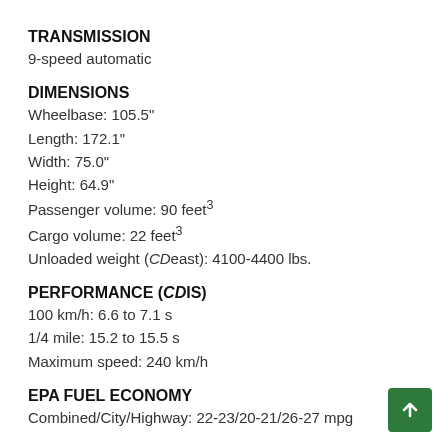TRANSMISSION
9-speed automatic
DIMENSIONS
Wheelbase: 105.5"
Length: 172.1"
Width: 75.0"
Height: 64.9"
Passenger volume: 90 feet³
Cargo volume: 22 feet³
Unloaded weight (CDeast): 4100-4400 lbs.
PERFORMANCE (CDIS)
100 km/h: 6.6 to 7.1 s
1/4 mile: 15.2 to 15.5 s
Maximum speed: 240 km/h
EPA FUEL ECONOMY
Combined/City/Highway: 22-23/20-21/26-27 mpg